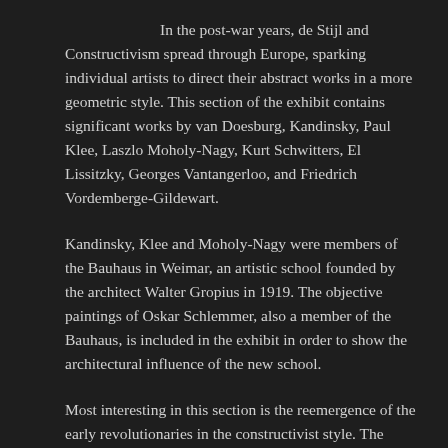In the post-war years, de Stijl and Constructivism spread through Europe, sparking individual artists to direct their abstract works in a more geometric style. This section of the exhibit contains significant works by van Doesburg, Kandinsky, Paul Klee, Laszlo Moholy-Nagy, Kurt Schwitters, El Lissitzky, Georges Vantangerloo, and Friedrich Vordemberge-Gildewart.
Kandinsky, Klee and Moholy-Nagy were members of the Bauhaus in Weimar, an artistic school founded by the architect Walter Gropius in 1919. The objective paintings of Oskar Schlemmer, also a member of the Bauhaus, is included in the exhibit in order to show the architectural influence of the new school.
Most interesting in this section is the reemergence of the early revolutionaries in the constructivist style. The futurist Balla and the cubist Leger both contributed to the development of the genre in this decade; Kandinsky and Klee had founded in 1911 the Munich-based Blue Rider group; and Schwitters and Moholy-Nagy were involved in